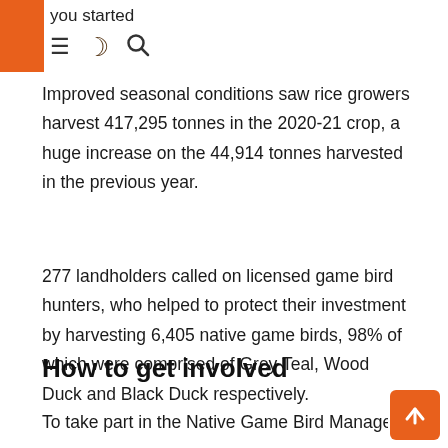you started
Improved seasonal conditions saw rice growers harvest 417,295 tonnes in the 2020-21 crop, a huge increase on the 44,914 tonnes harvested in the previous year.
277 landholders called on licensed game bird hunters, who helped to protect their investment by harvesting 6,405 native game birds, 98% of which were comprised of Grey Teal, Wood Duck and Black Duck respectively.
How to get involved
To take part in the Native Game Bird Manageme